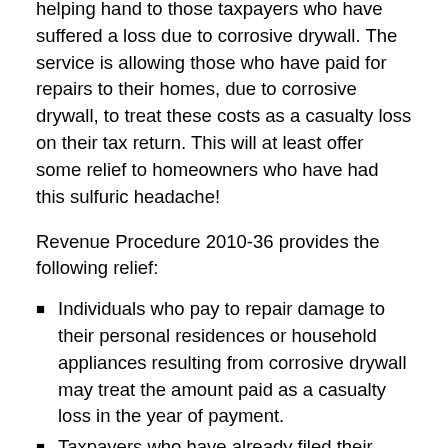helping hand to those taxpayers who have suffered a loss due to corrosive drywall. The service is allowing those who have paid for repairs to their homes, due to corrosive drywall, to treat these costs as a casualty loss on their tax return. This will at least offer some relief to homeowners who have had this sulfuric headache!
Revenue Procedure 2010-36 provides the following relief:
Individuals who pay to repair damage to their personal residences or household appliances resulting from corrosive drywall may treat the amount paid as a casualty loss in the year of payment.
Taxpayers who have already filed their income tax return for the year of payment generally have three years to file an amended return and claim the deduction.The amount of a loss that may be claimed depends on whether the taxpayer has a pending claim